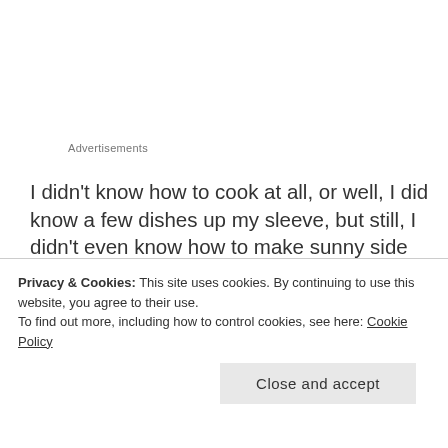Advertisements
I didn't know how to cook at all, or well, I did know a few dishes up my sleeve, but still, I didn't even know how to make sunny side up eggs or how long to boil an egg for if I wanted soft or hard boiled eggs. I even boiled potatoes whole, not knowing that if I had cut them up into smaller chunks, they'd cook faster and I wouldn't have to wait an hour to make myself some mashed potatoes! In addition, I had no rice cooker
Privacy & Cookies: This site uses cookies. By continuing to use this website, you agree to their use.
To find out more, including how to control cookies, see here: Cookie Policy
Close and accept
going by that, I had no idea how I survived my first